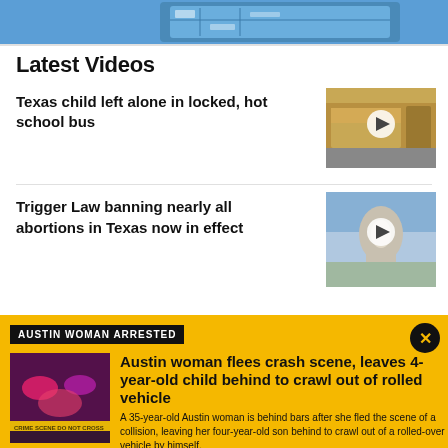[Figure (photo): Partial view of a smartphone/tablet with content on screen, blue background]
Latest Videos
Texas child left alone in locked, hot school bus
[Figure (photo): Video thumbnail showing a school bus, with play button overlay]
Trigger Law banning nearly all abortions in Texas now in effect
[Figure (photo): Video thumbnail showing Texas state capitol building, with play button overlay]
AUSTIN WOMAN ARRESTED
[Figure (photo): Police lights / crime scene tape photo]
Austin woman flees crash scene, leaves 4-year-old child behind to crawl out of rolled vehicle
A 35-year-old Austin woman is behind bars after she fled the scene of a collision, leaving her four-year-old son behind to crawl out of a rolled-over vehicle by himself.